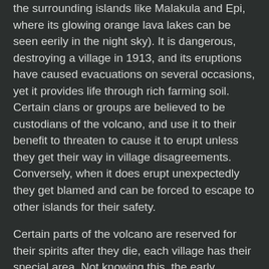the surrounding islands like Malakula and Epi, where its glowing orange lava lakes can be seen eerily in the night sky). It is dangerous, destroying a village in 1913, and its eruptions have caused evacuations on several occasions, yet it provides life through rich farming soil. Certain clans or groups are believed to be custodians of the volcano, and use it to their benefit to threaten to cause it to erupt unless they get their way in village disagreements. Conversely, when it does erupt unexpectedly they get blamed and can be forced to escape to other islands for their safety.
Certain parts of the volcano are reserved for their spirits after they die, each village has their special area. Not knowing this, the early Christian missionaries failed dismally in their attempt to convert the local populace, the threat of a fiery end for their souls if they did not convert was not going to provoke fear when they believed that was their future anyway.
My guide was a firm believer in the traditional custom ways. The lava bombs he eagerly collected could be buried around